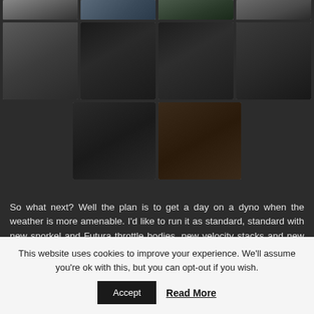[Figure (photo): Grid of product photos showing a scope/optical device from multiple angles against outdoor backgrounds. Two partial rows visible at top, then two full rows of four thumbnails, then a bottom row of two centered thumbnails.]
So what next? Well the plan is to get a day on a dyno when the weather is more amenable. I'd like to run it as standard, standard with new snorkel and Futura throttle bodies, new velocity stacks and new snorkel and see what the numbers say. Any guesses?
This website uses cookies to improve your experience. We'll assume you're ok with this, but you can opt-out if you wish.
Accept
Read More